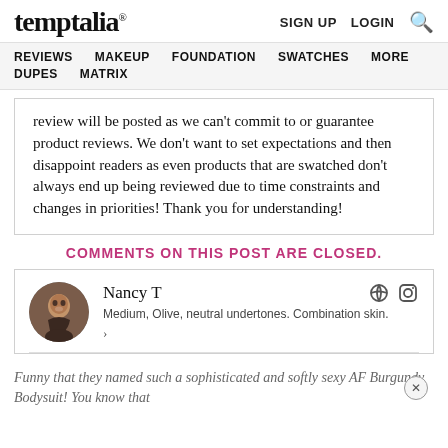temptalia® | SIGN UP  LOGIN  🔍
REVIEWS  MAKEUP  FOUNDATION  SWATCHES  MORE  DUPES  MATRIX
review will be posted as we can't commit to or guarantee product reviews. We don't want to set expectations and then disappoint readers as even products that are swatched don't always end up being reviewed due to time constraints and changes in priorities! Thank you for understanding!
COMMENTS ON THIS POST ARE CLOSED.
Nancy T
Medium, Olive, neutral undertones. Combination skin.
»
Funny that they named such a sophisticated and softly sexy AF Burgundy Bodysuit! You know that